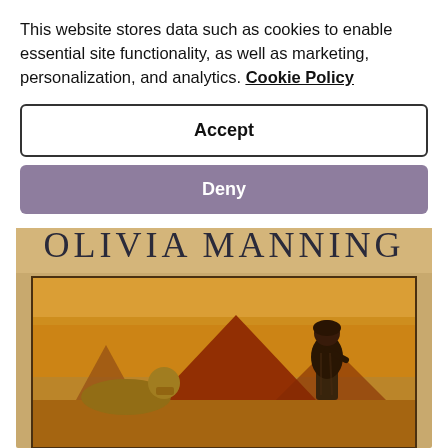This website stores data such as cookies to enable essential site functionality, as well as marketing, personalization, and analytics. Cookie Policy
Accept
Deny
[Figure (illustration): Book cover showing 'OLIVIA MANNING' text at the top on a sandy/papyrus background, with a vintage illustration below depicting the Egyptian pyramids, the Sphinx, and a figure in traditional dress standing and looking at them, all in warm golden and brown tones.]